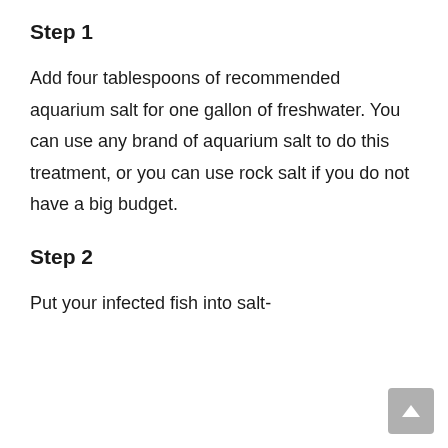Step 1
Add four tablespoons of recommended aquarium salt for one gallon of freshwater. You can use any brand of aquarium salt to do this treatment, or you can use rock salt if you do not have a big budget.
Step 2
Put your infected fish into salt-